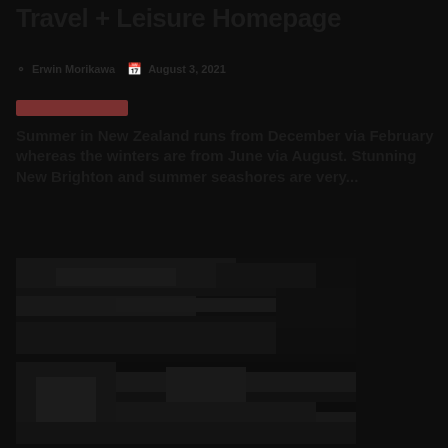Travel + Leisure Homepage
Erwin Morikawa   August 3, 2021
Summer in New Zealand runs from December via February whereas the winters are from June via August. Stunning New Brighton and summer seashores are very...
[Figure (photo): Dark landscape or travel photo, upper image]
[Figure (photo): Dark landscape or travel photo, lower image]